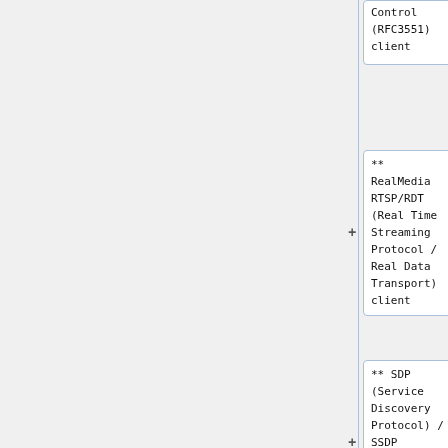[Figure (flowchart): Partial view of a network protocol flowchart showing node boxes for: (1) Control (RFC3551) client, (2) ** RealMedia RTSP/RDT (Real Time Streaming Protocol / Real Data Transport) client with a + expand button, (3) ** SDP (Service Discovery Protocol) / SSDP (Simple Service Discovery Protocol) client with a + expand button]